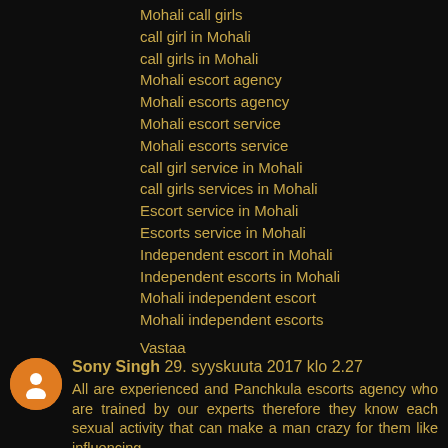Mohali call girls
call girl in Mohali
call girls in Mohali
Mohali escort agency
Mohali escorts agency
Mohali escort service
Mohali escorts service
call girl service in Mohali
call girls services in Mohali
Escort service in Mohali
Escorts service in Mohali
Independent escort in Mohali
Independent escorts in Mohali
Mohali independent escort
Mohali independent escorts
Vastaa
Sony Singh 29. syyskuuta 2017 klo 2.27
All are experienced and Panchkula escorts agency who are trained by our experts therefore they know each sexual activity that can make a man crazy for them like influencing